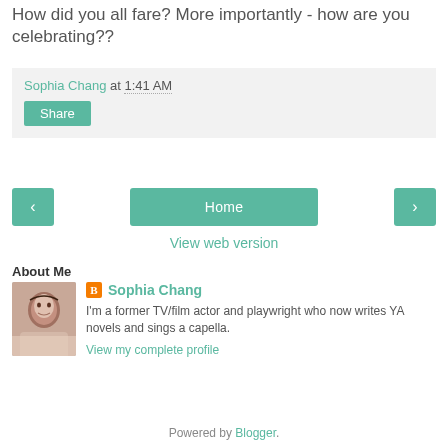How did you all fare? More importantly - how are you celebrating??
Sophia Chang at 1:41 AM
Share
< Home >
View web version
About Me
[Figure (photo): Profile photo of Sophia Chang]
Sophia Chang
I'm a former TV/film actor and playwright who now writes YA novels and sings a capella.
View my complete profile
Powered by Blogger.